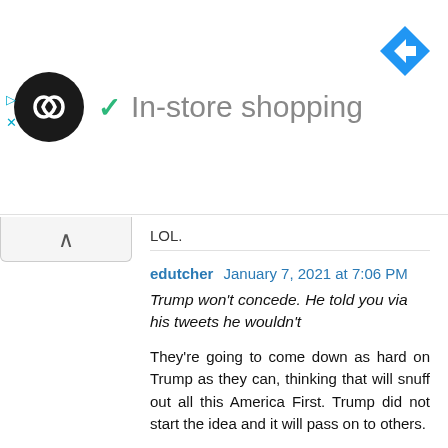[Figure (screenshot): Ad banner showing a black circular logo with infinity-like symbol, a green checkmark, text 'In-store shopping' in gray, and a blue diamond-shaped navigation arrow icon on the right. Play and X controls on the left side.]
LOL.
edutcher  January 7, 2021 at 7:06 PM
Trump won't concede. He told you via his tweets he wouldn't
They're going to come down as hard on Trump as they can, thinking that will snuff out all this America First. Trump did not start the idea and it will pass on to others.
Trump will be a martyr as much as Ashli Bobbitt and the others, Benjamin Phillips, Kevin Greeson,
Roseanne Boylan. Notice how they have yet to put out a cause of death. Without a vid, it's easier to lie.